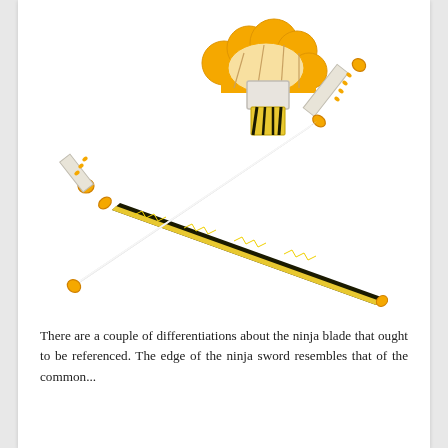[Figure (photo): Two crossed katana/ninja swords with white scabbards, orange tips and orange hand guards with decorative wrapping. One sword has a yellow and black flame-patterned blade. Above the crossed swords is a decorative tsuba (hand guard) component shaped like an orange cloud or flower, with a white rectangular fitting and a tiger-stripe patterned collar.]
There are a couple of differentiations about the ninja blade that ought to be referenced. The edge of the ninja sword resembles that of the common...